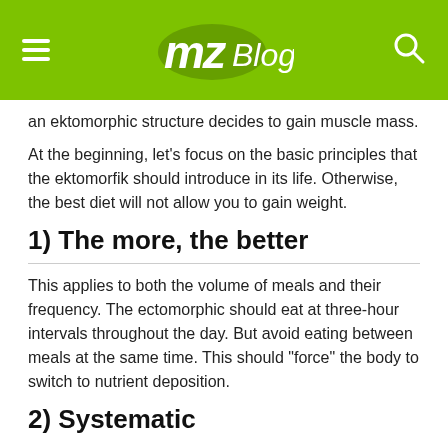MZ Blog
an ektomorphic structure decides to gain muscle mass.
At the beginning, let's focus on the basic principles that the ektomorfik should introduce in its life. Otherwise, the best diet will not allow you to gain weight.
1) The more, the better
This applies to both the volume of meals and their frequency. The ectomorphic should eat at three-hour intervals throughout the day. But avoid eating between meals at the same time. This should "force" the body to switch to nutrient deposition.
2) Systematic